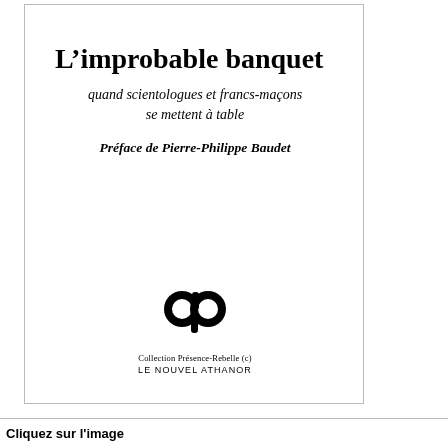[Figure (illustration): Book cover for 'L'improbable banquet' showing title, subtitle, preface credit, and publisher logo (Le Nouvel Athanor, Collection Présence-Rebelle)]
L’improbable banquet
quand scientologues et francs-maçons se mettent à table
Préface de Pierre-Philippe Baudet
Collection Présence-Rebelle (c)
LE NOUVEL ATHANOR
Cliquez sur l'image